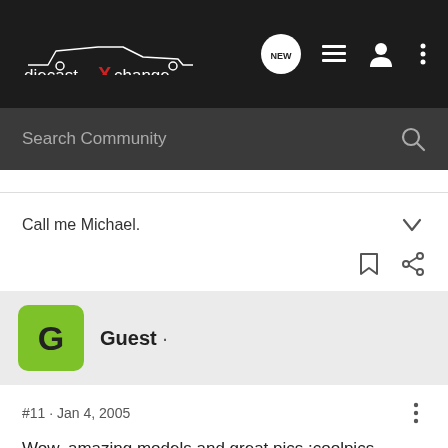diecastXchange — navigation bar with Search Community
Call me Michael.
Guest ·
#11  ·  Jan 4, 2005
Wow, amazing models and great pics :coolpics
thanks for the review :nicejob